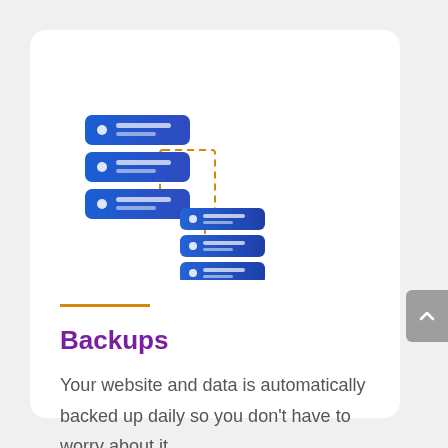[Figure (illustration): Database backup illustration: two blue server/database stacks connected by dashed orange lines, one larger stack on the left and one smaller stack on the lower right, representing data backup replication.]
Backups
Your website and data is automatically backed up daily so you don't have to worry about it.